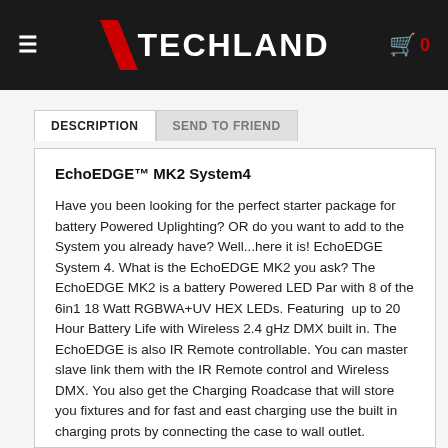≡  TECHLAND  🛒 0
DESCRIPTION  SEND TO FRIEND
EchoEDGE™ MK2 System4
Have you been looking for the perfect starter package for battery Powered Uplighting? OR do you want to add to the System you already have? Well...here it is! EchoEDGE System 4. What is the EchoEDGE MK2 you ask? The EchoEDGE MK2 is a battery Powered LED Par with 8 of the 6in1 18 Watt RGBWA+UV HEX LEDs. Featuring  up to 20 Hour Battery Life with Wireless 2.4 gHz DMX built in. The EchoEDGE is also IR Remote controllable. You can master slave link them with the IR Remote control and Wireless DMX. You also get the Charging Roadcase that will store you fixtures and for fast and east charging use the built in charging prots by connecting the case to wall outlet.